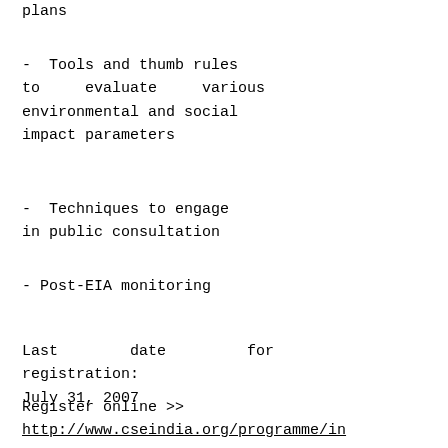plans
- Tools and thumb rules to evaluate various environmental and social impact parameters
- Techniques to engage in public consultation
- Post-EIA monitoring
Last date for registration:
July 31, 2007
Register online >>
http://www.cseindia.org/programme/in